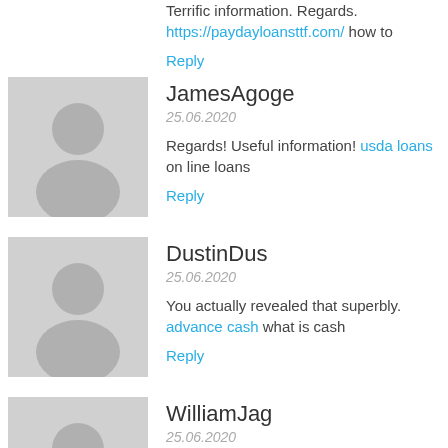Terrific information. Regards. https://paydayloansttf.com/ how to
Reply
JamesAgoge
25.06.2020
Regards! Useful information! usda loans on line loans
Reply
DustinDus
25.06.2020
You actually revealed that superbly. advance cash what is cash
Reply
WilliamJag
25.06.2020
You mentioned it superbly. https://paydayloansbbv.com/ 24 hour
Reply
Thomasnaw